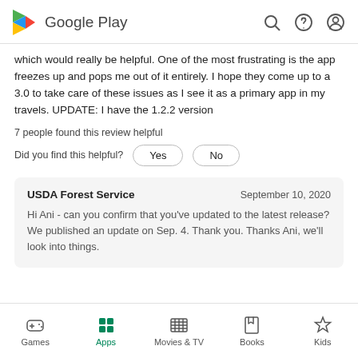Google Play
which would really be helpful. One of the most frustrating is the app freezes up and pops me out of it entirely. I hope they come up to a 3.0 to take care of these issues as I see it as a primary app in my travels. UPDATE: I have the 1.2.2 version
7 people found this review helpful
Did you find this helpful?
USDA Forest Service    September 10, 2020
Hi Ani - can you confirm that you've updated to the latest release? We published an update on Sep. 4. Thank you. Thanks Ani, we'll look into things.
Games | Apps | Movies & TV | Books | Kids